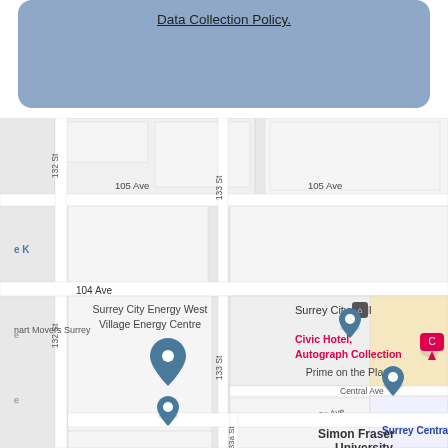Data Collection Policy.
[Figure (map): Google Maps view showing Surrey City Hall area, including 105 Ave, 104 Ave, 102a Ave, 132 St, 133 St, 133a St, Central Ave. Landmarks shown: Surrey City Energy West Village Energy Centre (pin), Surrey City Hall (pin), Civic Hotel Autograph Collection (pink marker), Prime on the Plaza (pin), nart Movers Surrey (pin), Surrey Central, Simon Fraser University (partial).]